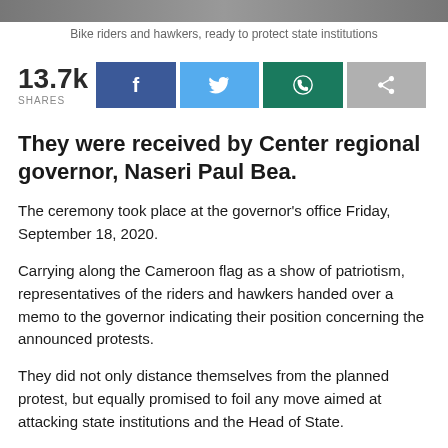[Figure (photo): Photo bar at top of page showing bike riders and hawkers]
Bike riders and hawkers, ready to protect state institutions
13.7k SHARES
They were received by Center regional governor, Naseri Paul Bea.
The ceremony took place at the governor's office Friday, September 18, 2020.
Carrying along the Cameroon flag as a show of patriotism, representatives of the riders and hawkers handed over a memo to the governor indicating their position concerning the announced protests.
They did not only distance themselves from the planned protest, but equally promised to foil any move aimed at attacking state institutions and the Head of State.